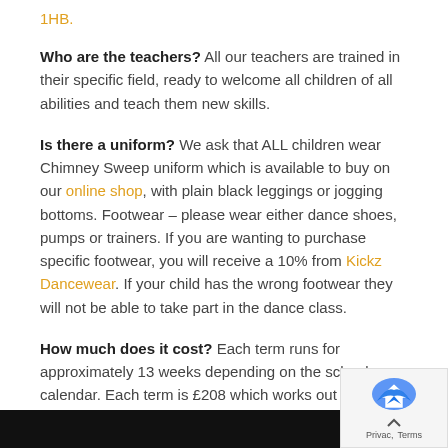1HB.
Who are the teachers? All our teachers are trained in their specific field, ready to welcome all children of all abilities and teach them new skills.
Is there a uniform? We ask that ALL children wear Chimney Sweep uniform which is available to buy on our online shop, with plain black leggings or jogging bottoms. Footwear – please wear either dance shoes, pumps or trainers. If you are wanting to purchase specific footwear, you will receive a 10% from Kickz Dancewear. If your child has the wrong footwear they will not be able to take part in the dance class.
How much does it cost? Each term runs for approximately 13 weeks depending on the school calendar. Each term is £208 which works out at £16 per session. Fees are paid termly at the beginning of a term.